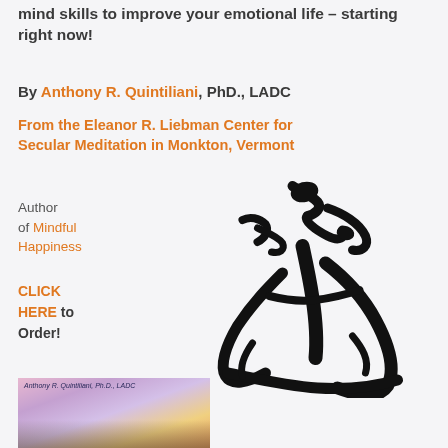mind skills to improve your emotional life – starting right now!
By Anthony R. Quintiliani, PhD., LADC
From the Eleanor R. Liebman Center for Secular Meditation in Monkton, Vermont
Author of Mindful Happiness
CLICK HERE to Order!
[Figure (illustration): Large black brushstroke calligraphy character (likely Chinese/Japanese Zen calligraphy) in bold ink brush style]
[Figure (photo): Book cover of Mindful Happiness by Anthony R. Quintiliani, Ph.D., LADC, showing a colorful sky with clouds]